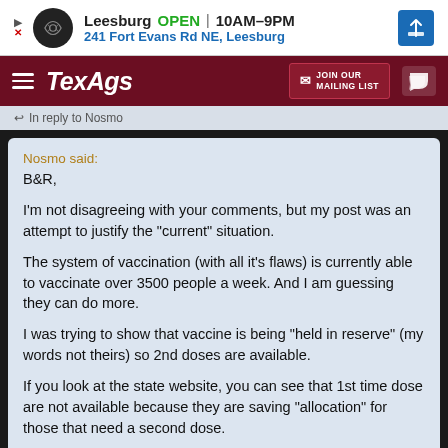[Figure (screenshot): Advertisement banner for a local business: Leesburg OPEN 10AM-9PM, 241 Fort Evans Rd NE, Leesburg]
TexAgs — JOIN OUR MAILING LIST
In reply to Nosmo
Nosmo said:
B&R,

I'm not disagreeing with your comments, but my post was an attempt to justify the "current" situation.

The system of vaccination (with all it's flaws) is currently able to vaccinate over 3500 people a week. And I am guessing they can do more.

I was trying to show that vaccine is being "held in reserve" (my words not theirs) so 2nd doses are available.

If you look at the state website, you can see that 1st time dose are not available because they are saving "allocation" for those that need a second dose.

The federal level is not "reserving", and the the two suppliers are maxed out.